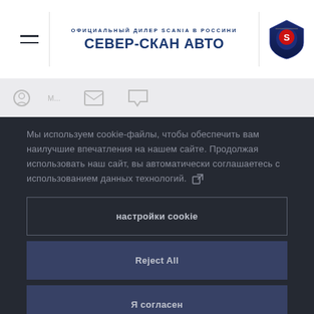ОФИЦИАЛЬНЫЙ ДИЛЕР SCANIA В РОССИНИ — СЕВЕР-СКАН АВТО
Мы используем cookie-файлы, чтобы обеспечить вам наилучшие впечатления на нашем сайте. Продолжая использовать наш сайт, вы автоматически соглашаетесь с использованием данных технологий.
настройки cookie
Reject All
Я согласен